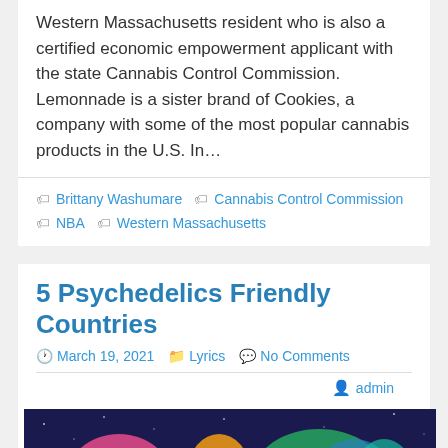Western Massachusetts resident who is also a certified economic empowerment applicant with the state Cannabis Control Commission. Lemonnade is a sister brand of Cookies, a company with some of the most popular cannabis products in the U.S. In…
Brittany Washumare
Cannabis Control Commission
NBA
Western Massachusetts
5 Psychedelics Friendly Countries
March 19, 2021   Lyrics   No Comments
admin
[Figure (photo): Colorful world map on dark blue/purple background with text '5 Psychedelics Friendly Countries' overlay]